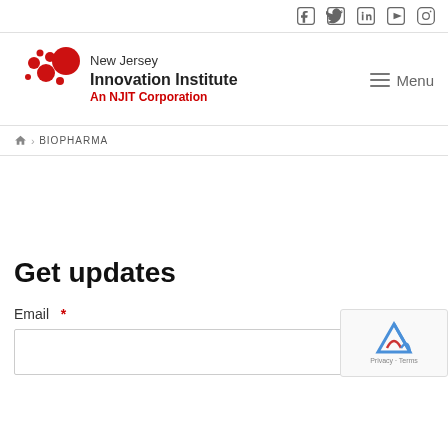Social media icons: Facebook, Twitter, LinkedIn, YouTube, Instagram
[Figure (logo): New Jersey Innovation Institute logo with red molecule graphic, text 'New Jersey Innovation Institute An NJIT Corporation' and hamburger Menu button]
home > BIOPHARMA
Get updates
Email *